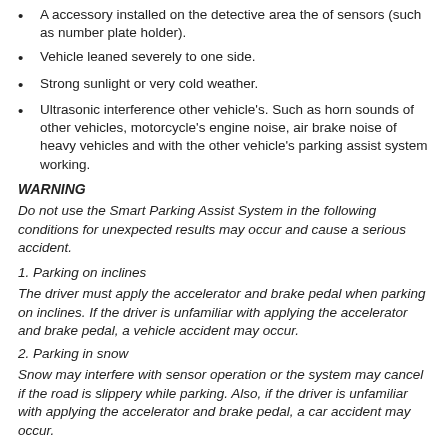A accessory installed on the detective area the of sensors (such as number plate holder).
Vehicle leaned severely to one side.
Strong sunlight or very cold weather.
Ultrasonic interference other vehicle's. Such as horn sounds of other vehicles, motorcycle's engine noise, air brake noise of heavy vehicles and with the other vehicle's parking assist system working.
WARNING
Do not use the Smart Parking Assist System in the following conditions for unexpected results may occur and cause a serious accident.
1. Parking on inclines
The driver must apply the accelerator and brake pedal when parking on inclines. If the driver is unfamiliar with applying the accelerator and brake pedal, a vehicle accident may occur.
2. Parking in snow
Snow may interfere with sensor operation or the system may cancel if the road is slippery while parking. Also, if the driver is unfamiliar with applying the accelerator and brake pedal, a car accident may occur.